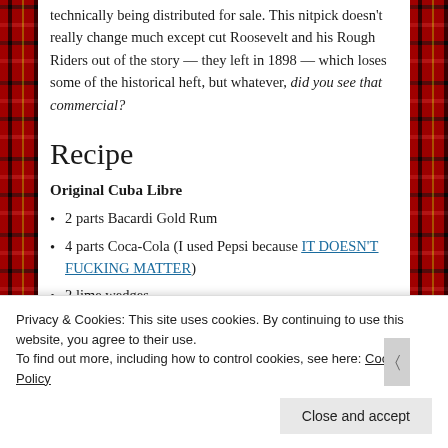technically being distributed for sale. This nitpick doesn't really change much except cut Roosevelt and his Rough Riders out of the story — they left in 1898 — which loses some of the historical heft, but whatever, did you see that commercial?
Recipe
Original Cuba Libre
2 parts Bacardi Gold Rum
4 parts Coca-Cola (I used Pepsi because IT DOESN'T FUCKING MATTER)
2 lime wedges
Ice cubes
Privacy & Cookies: This site uses cookies. By continuing to use this website, you agree to their use.
To find out more, including how to control cookies, see here: Cookie Policy